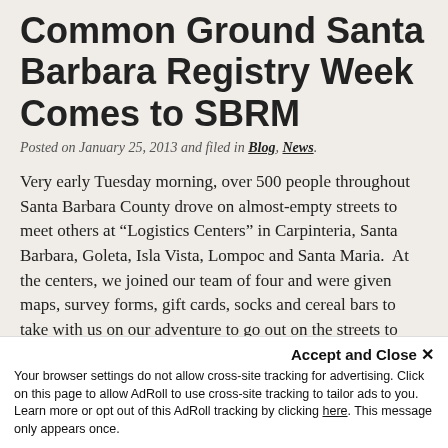Common Ground Santa Barbara Registry Week Comes to SBRM
Posted on January 25, 2013 and filed in Blog, News.
Very early Tuesday morning, over 500 people throughout Santa Barbara County drove on almost-empty streets to meet others at “Logistics Centers” in Carpinteria, Santa Barbara, Goleta, Isla Vista, Lompoc and Santa Maria.  At the centers, we joined our team of four and were given maps, survey forms, gift cards, socks and cereal bars to take with us on our adventure to go out on the streets to survey homeless men, women and children who live in our areas.  We were all part of the Common Ground Santa Barbara Registry Week, an
Accept and Close × Your browser settings do not allow cross-site tracking for advertising. Click on this page to allow AdRoll to use cross-site tracking to tailor ads to you. Learn more or opt out of this AdRoll tracking by clicking here. This message only appears once.